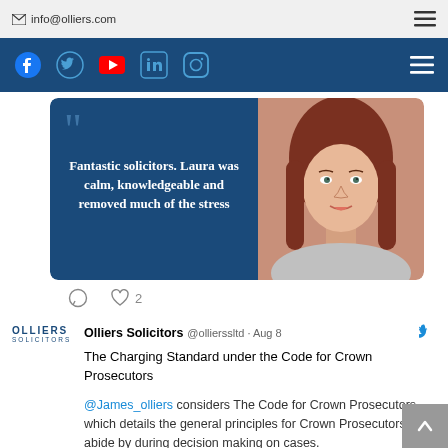info@olliers.com
[Figure (screenshot): Social media navigation bar with Facebook, Twitter/X, YouTube, LinkedIn, Instagram icons on dark blue background]
[Figure (photo): Quote card with dark blue background showing text 'Fantastic solicitors. Laura was calm, knowledgeable and removed much of the stress' alongside a photo of a woman with auburn hair]
♡ 2
Olliers Solicitors @ollierssltd · Aug 8
The Charging Standard under the Code for Crown Prosecutors

@James_olliers considers The Code for Crown Prosecutors which details the general principles for Crown Prosecutors to abide by during decision making on cases.